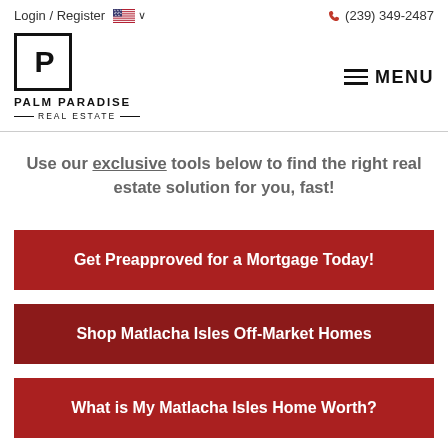Login / Register  🇺🇸 ∨   📞 (239) 349-2487
[Figure (logo): Palm Paradise Real Estate logo — a square box with 'P' lettermark and brand name below]
Use our exclusive tools below to find the right real estate solution for you, fast!
Get Preapproved for a Mortgage Today!
Shop Matlacha Isles Off-Market Homes
What is My Matlacha Isles Home Worth?